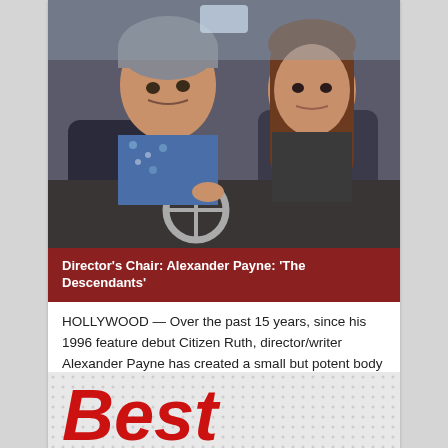[Figure (photo): Two people inside a car — a middle-aged man with gray hair in a floral shirt driving, and a young woman with brown hair in the passenger seat, both looking serious.]
Director's Chair: Alexander Payne: 'The Descendants'
HOLLYWOOD — Over the past 15 years, since his 1996 feature debut Citizen Ruth, director/writer Alexander Payne has created a small but potent body of work, including Sideways (which won him the '05 Os ...
November 9, 2011
[Figure (logo): Partial red italic bold logo text reading 'Best' or similar, visible at bottom of page on a dotted/textured light background.]